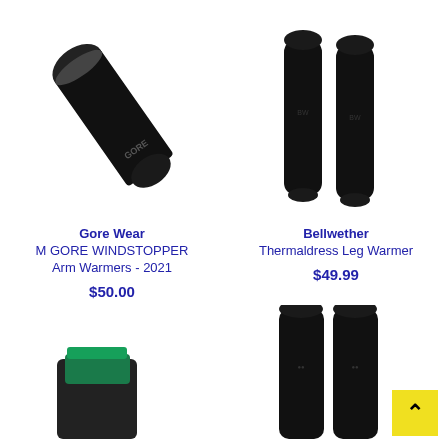[Figure (photo): Black Gore Wear arm warmer lying diagonally on white background]
[Figure (photo): Two black Bellwether Thermaldress leg warmers standing upright on white background]
Gore Wear
M GORE WINDSTOPPER Arm Warmers - 2021
$50.00
Bellwether
Thermaldress Leg Warmer
$49.99
[Figure (photo): Partial view of a green/teal cycling product at bottom left]
[Figure (photo): Two black compression leg sleeves at bottom right]
[Figure (other): Yellow back-to-top button with upward chevron arrow]